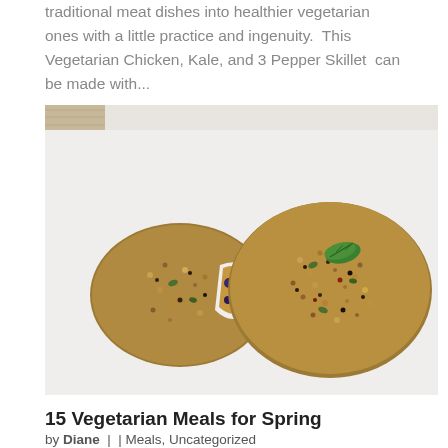traditional meat dishes into healthier vegetarian ones with a little practice and ingenuity.  This Vegetarian Chicken, Kale, and 3 Pepper Skillet  can be made with...
[Figure (photo): Two grain/quinoa patties or cakes on a white plate, one whole with a green herb leaf on top, one broken open revealing the interior with blueberries and greens visible.]
15 Vegetarian Meals for Spring
by Diane  |  | Meals, Uncategorized